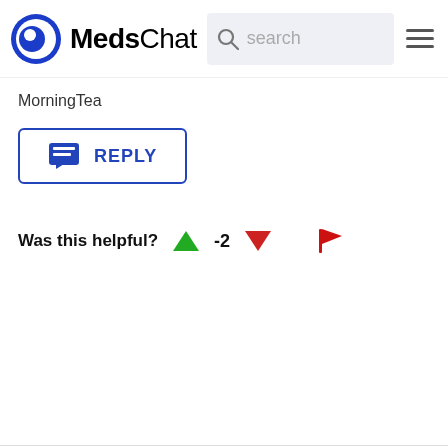MedsChat [search bar] [menu]
MorningTea
[Figure (screenshot): REPLY button with chat icon, blue border]
Was this helpful? -2